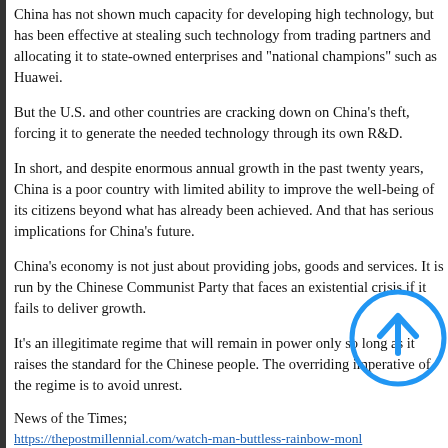China has not shown much capacity for developing high technology, but has been effective at stealing such technology from trading partners and allocating it to state-owned enterprises and "national champions" such as Huawei.
But the U.S. and other countries are cracking down on China's theft, forcing it to generate the needed technology through its own R&D.
In short, and despite enormous annual growth in the past twenty years, China is a poor country with limited ability to improve the well-being of its citizens beyond what has already been achieved. And that has serious implications for China's future.
China's economy is not just about providing jobs, goods and services. It is run by the Chinese Communist Party that faces an existential crisis if it fails to deliver economic growth.
It's an illegitimate regime that will remain in power only so long as it raises the standard for the Chinese people. The overriding imperative of the regime is to avoid unrest.
News of the Times;
https://thepostmillennial.com/watch-man-buttless-rainbow-monk...
https://www.thegatewaypundit.com/2021/07/denver-blm-leader-resumes-duties-school-board/
https://www.menofthewest.net/a-short-sermon-on-hate/
[Figure (other): Blue circle with upward arrow icon (back to top button)]